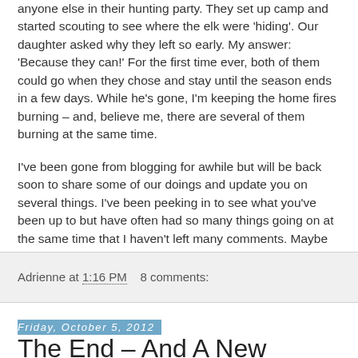anyone else in their hunting party.  They set up camp and started scouting to see where the elk were 'hiding'.  Our daughter asked why they left so early.  My answer: 'Because they can!'  For the first time ever, both of them could go when they chose and stay until the season ends in a few days.  While he's gone, I'm keeping the home fires burning – and, believe me, there are several of them burning at the same time.
I've been gone from blogging for awhile but will be back soon to share some of our doings and update you on several things.  I've been peeking in to see what you've been up to but have often had so many things going on at the same time that I haven't left many comments.  Maybe life will settle down.  Maybe not!  But, I'll be back!
Adrienne at 1:16 PM    8 comments:
Friday, October 5, 2012
The End – And A New Beginning